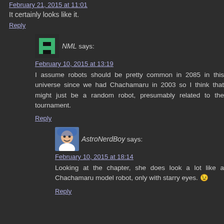February 21, 2015 at 11:01 (partial, top of page, link)
It certainly looks like it.
Reply
NML says: February 10, 2015 at 13:19
I assume robots should be pretty common in 2085 in this universe since we had Chachamaru in 2003 so I think that might just be a random robot, presumably related to the tournament.
Reply
AstroNerdBoy says: February 10, 2015 at 18:14
Looking at the chapter, she does look a lot like a Chachamaru model robot, only with starry eyes. 😉
Reply